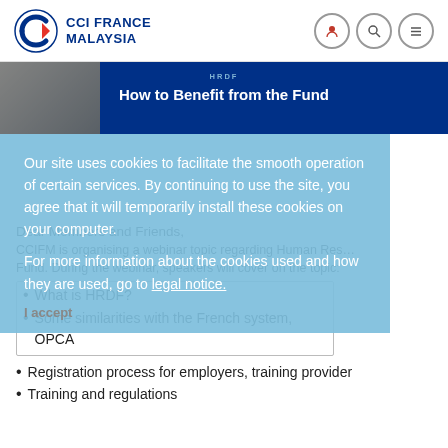CCI FRANCE MALAYSIA
[Figure (screenshot): Banner image showing 'HRDF – How to Benefit from the Fund' with dark blue background and a partial photo on the left]
Our site uses cookies to facilitate the smooth operation of certain services. By continuing to use the site, you agree that it will temporarily install these cookies on your computer.

For more information about the cookies used and how they are used, go to legal notice.

I accept
Dear Members and Friends,
CCIFM is organising a webinar topic regarding Human Resources Development Fund. During the webinar, speakers will cover on the topic:
What is HRDF?
Some similarities with the French system, OPCA
Registration process for employers, training provider
Training and regulations